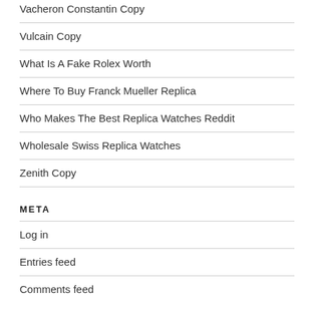Vacheron Constantin Copy
Vulcain Copy
What Is A Fake Rolex Worth
Where To Buy Franck Mueller Replica
Who Makes The Best Replica Watches Reddit
Wholesale Swiss Replica Watches
Zenith Copy
META
Log in
Entries feed
Comments feed